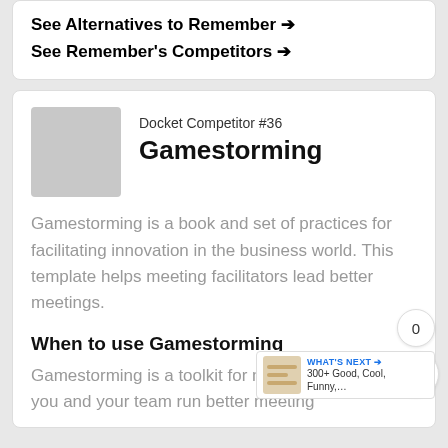See Alternatives to Remember →
See Remember's Competitors →
Docket Competitor #36
Gamestorming
Gamestorming is a book and set of practices for facilitating innovation in the business world. This template helps meeting facilitators lead better meetings.
When to use Gamestorming
Gamestorming is a toolkit for meetings that helps you and your team run better meeting